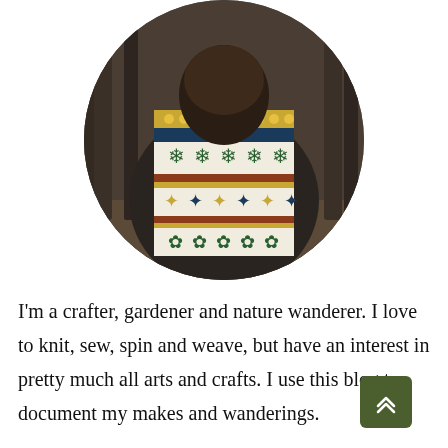[Figure (photo): Circular cropped photo of a person seen from behind wearing a colorful Fair Isle / Nordic patterned sweater with green, gold, white, blue, and red patterns, standing in a forested outdoor setting.]
I'm a crafter, gardener and nature wanderer. I love to knit, sew, spin and weave, but have an interest in pretty much all arts and crafts. I use this blog to document my makes and wanderings.
I'm interested in folklore, old ways,